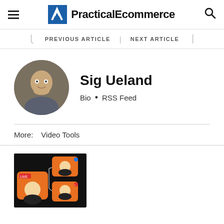PracticalEcommerce
PREVIOUS ARTICLE | NEXT ARTICLE
[Figure (photo): Circular headshot photo of Sig Ueland, a man with short hair, smiling slightly]
Sig Ueland
Bio • RSS Feed
More: Video Tools
[Figure (illustration): Thumbnail image showing animated cartoon character with live streaming icons on a dark background]